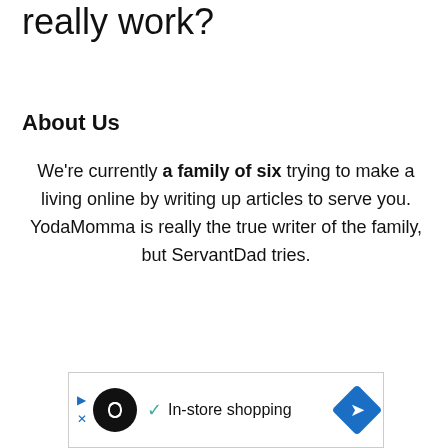really work?
About Us
We're currently a family of six trying to make a living online by writing up articles to serve you. YodaMomma is really the true writer of the family, but ServantDad tries.
[Figure (other): Advertisement banner with circular infinity-loop icon, checkmark and 'In-store shopping' text, and blue diamond arrow icon]